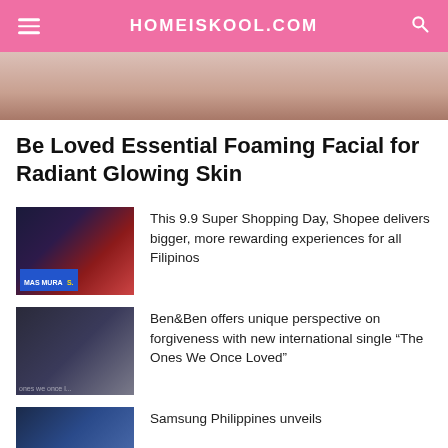HOMEISKOOL.COM
[Figure (photo): Hero image showing a person in a 'Be Loved' t-shirt]
Be Loved Essential Foaming Facial for Radiant Glowing Skin
[Figure (photo): Shopee 9.9 Super Shopping Day thumbnail with 'Mas Mura sa Shopee' signage]
This 9.9 Super Shopping Day, Shopee delivers bigger, more rewarding experiences for all Filipinos
[Figure (photo): Ben&Ben band photo for 'The Ones We Once Loved' single]
Ben&Ben offers unique perspective on forgiveness with new international single “The Ones We Once Loved”
[Figure (photo): Samsung Philippines announcement thumbnail]
Samsung Philippines unveils